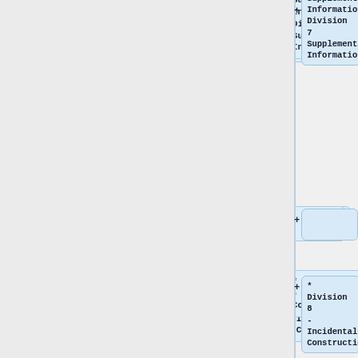+ Division 7 Supplemental Information | Division 7 Supplemental Information
+
+ * Division 8 - Incidental Construction
+ ** 801 - Concrete Driveways | 801 - Concrete Driveways
+ ** 802 - Concrete Curb, Gutter, and Dividers | 802